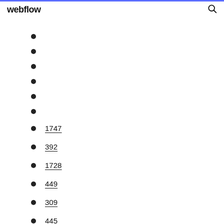webflow
1747
392
1728
449
309
445